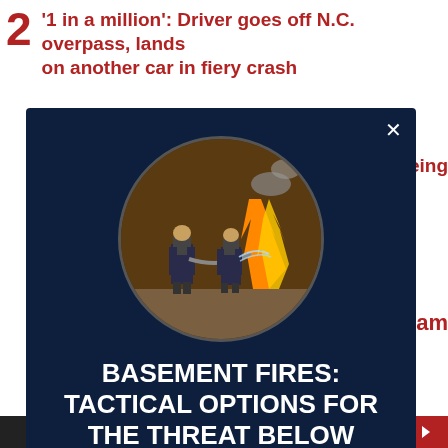2 '1 in a million': Driver goes off N.C. overpass, lands on another car in fiery crash
[Figure (screenshot): Modal overlay on a dark navy background with a circular image of firefighters at a fire scene. Title reads 'BASEMENT FIRES: TACTICAL OPTIONS FOR THE THREAT BELOW'. Body text: 'Be prepared for the next basement fire your crew encounters with helpful tactical options.' A red 'WATCH NOW' button is at the bottom.]